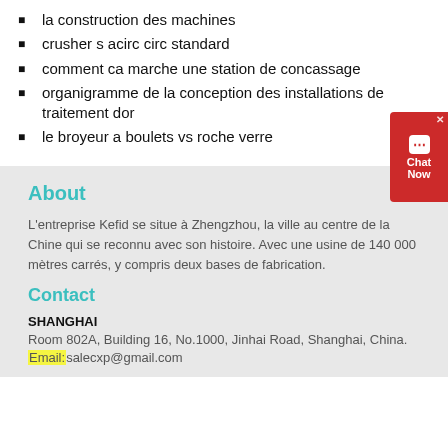la construction des machines
crusher s acirc circ standard
comment ca marche une station de concassage
organigramme de la conception des installations de traitement dor
le broyeur a boulets vs roche verre
About
L'entreprise Kefid se situe à Zhengzhou, la ville au centre de la Chine qui se reconnu avec son histoire. Avec une usine de 140 000 mètres carrés, y compris deux bases de fabrication.
Contact
SHANGHAI
Room 802A, Building 16, No.1000, Jinhai Road, Shanghai, China.
Email:salecxp@gmail.com